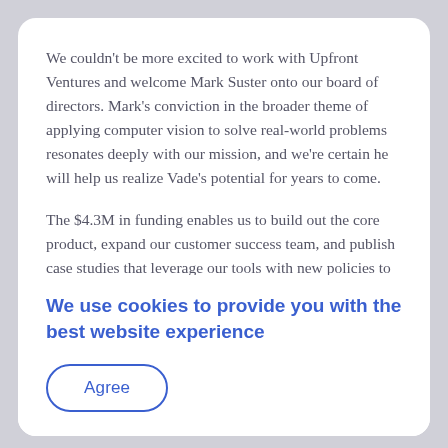We couldn't be more excited to work with Upfront Ventures and welcome Mark Suster onto our board of directors. Mark's conviction in the broader theme of applying computer vision to solve real-world problems resonates deeply with our mission, and we're certain he will help us realize Vade's potential for years to come.
The $4.3M in funding enables us to build out the core product, expand our customer success team, and publish case studies that leverage our tools with new policies to drive outcomes. We believe that by 2030, parking spots will b...
We use cookies to provide you with the best website experience
Agree